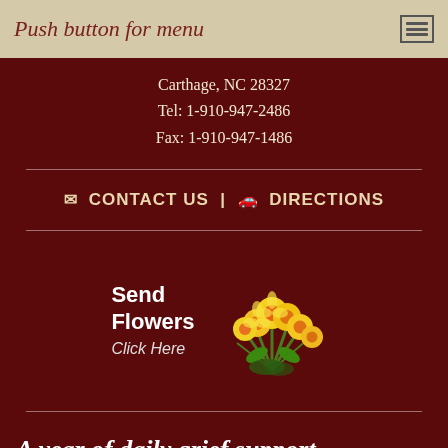Push button for menu
Carthage, NC 28327
Tel: 1-910-947-2486
Fax: 1-910-947-1486
CONTACT US | DIRECTIONS
[Figure (illustration): Send Flowers Click Here button with yellow flower bouquet image]
A year of daily grief support
Our support in your time of need does not end after the funeral services.  Enter your email below to receive a grief support message from us each day for a year.  You